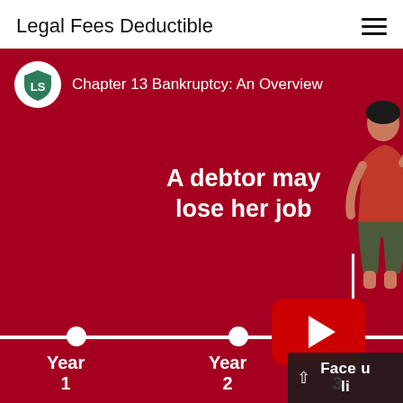Legal Fees Deductible
[Figure (screenshot): YouTube video thumbnail for 'Chapter 13 Bankruptcy: An Overview' showing a red infographic with a timeline (Year 1, Year 2, Year 3), text 'A debtor may lose her job', a play button overlay, and a partial dark panel reading 'Face u... li...' at the bottom right. An illustrated person figure appears top right.]